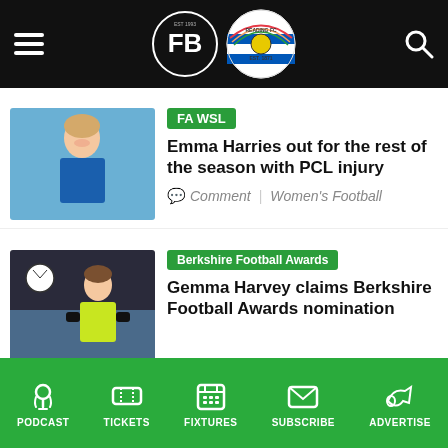Football Berkshire navigation header with FB logo and Reading FC logo
FA WSL
Emma Harries out for the rest of the season with PCL injury
Comment | Women's Football
Berkshire Football Awards
Gemma Harvey claims Berkshire Football Awards nomination
PODCAST | TICKETS | FIXTURES | SUBSCRIBE | ADVERTISE